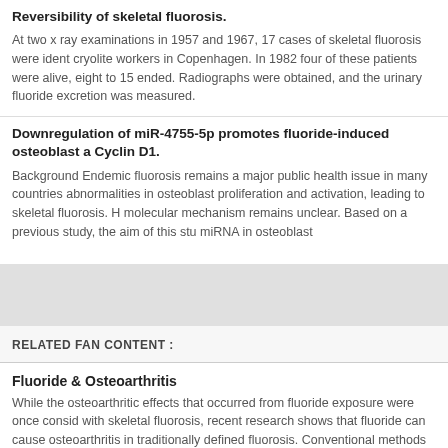Reversibility of skeletal fluorosis.
At two x ray examinations in 1957 and 1967, 17 cases of skeletal fluorosis were ident cryolite workers in Copenhagen. In 1982 four of these patients were alive, eight to 15 ended. Radiographs were obtained, and the urinary fluoride excretion was measured.
Downregulation of miR-4755-5p promotes fluoride-induced osteoblast a Cyclin D1.
Background Endemic fluorosis remains a major public health issue in many countries abnormalities in osteoblast proliferation and activation, leading to skeletal fluorosis. H molecular mechanism remains unclear. Based on a previous study, the aim of this stu miRNA in osteoblast
RELATED FAN CONTENT :
Fluoride & Osteoarthritis
While the osteoarthritic effects that occurred from fluoride exposure were once consid with skeletal fluorosis, recent research shows that fluoride can cause osteoarthritis in traditionally defined fluorosis. Conventional methods used for detecting skeletal fluoro detect the full range of people suffering from fluoride-induced osteoarthritis.